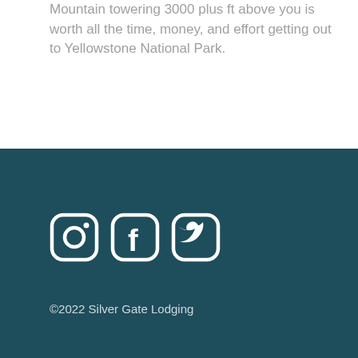and gazing out at snow capped Amphitheater Mountain towering 3000 plus ft above you is worth all the time, money, and effort getting out to Yellowstone National Park.
[Figure (infographic): Three social media icons: Instagram, Facebook, Twitter, displayed in white on dark teal background]
©2022 Silver Gate Lodging